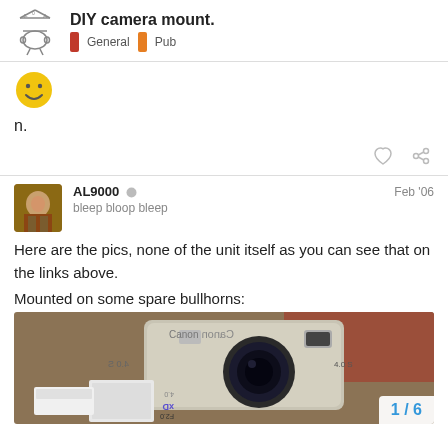DIY camera mount. | General | Pub
[Figure (illustration): Smiley face emoji]
n.
AL9000 bleep bloop bleep Feb '06
Here are the pics, none of the unit itself as you can see that on the links above.
Mounted on some spare bullhorns:
[Figure (photo): Photo of a Canon digital camera mounted on bullhorns, showing the front of the camera with lens, 4.0 megapixel label, and an xD memory card. A white object is visible to the lower left. Image counter shows 1/6.]